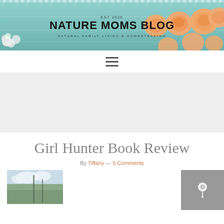[Figure (illustration): Nature Moms Blog banner header with peach/orange roses on teal/mint wood background. Text reads 'EST 2006', 'NATURE MOMS BLOG', 'NATURAL FAMILY LIVING & HOMESTEADING']
[Figure (illustration): Hamburger navigation menu icon (three horizontal lines)]
[Figure (illustration): Gray advertisement placeholder area]
Girl Hunter Book Review
By Tiffany — 5 Comments
[Figure (photo): Partial thumbnail photo showing sky and trees, with gray Pinterest-style overlay block on right side]